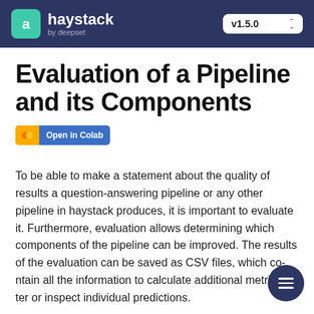haystack by deepset — v1.5.0
Evaluation of a Pipeline and its Components
[Figure (other): Open in Colab badge button]
To be able to make a statement about the quality of results a question-answering pipeline or any other pipeline in haystack produces, it is important to evaluate it. Furthermore, evaluation allows determining which components of the pipeline can be improved. The results of the evaluation can be saved as CSV files, which contain all the information to calculate additional metrics later or inspect individual predictions.